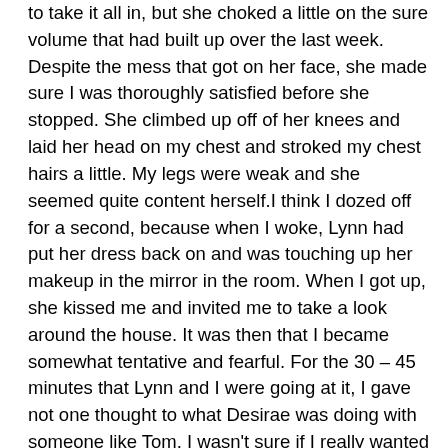to take it all in, but she choked a little on the sure volume that had built up over the last week. Despite the mess that got on her face, she made sure I was thoroughly satisfied before she stopped. She climbed up off of her knees and laid her head on my chest and stroked my chest hairs a little. My legs were weak and she seemed quite content herself.I think I dozed off for a second, because when I woke, Lynn had put her dress back on and was touching up her makeup in the mirror in the room. When I got up, she kissed me and invited me to take a look around the house. It was then that I became somewhat tentative and fearful. For the 30 – 45 minutes that Lynn and I were going at it, I gave not one thought to what Desirae was doing with someone like Tom. I wasn't sure if I really wanted to look in a door and see her energetically sucking some guy off when I practically had to beg for it myself. Still, I wasn't sure I wanted to see her later and question what she had done. So, with a little bit of trepidation, I started to explore the house.I guess I was expecting to see a lot of people in different rooms, but for the most part I just saw some stray couples and a couple of threesomes. While they were erotic, it was nothing to get me going after the blow job I just had. I then